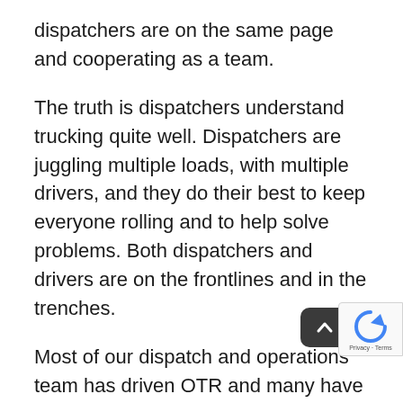dispatchers are on the same page and cooperating as a team.
The truth is dispatchers understand trucking quite well. Dispatchers are juggling multiple loads, with multiple drivers, and they do their best to keep everyone rolling and to help solve problems. Both dispatchers and drivers are on the frontlines and in the trenches.
Most of our dispatch and operations team has driven OTR and many have held various positions in the trucking industry. This is one reason we have a below-average driver turnover rate – our team is made up of